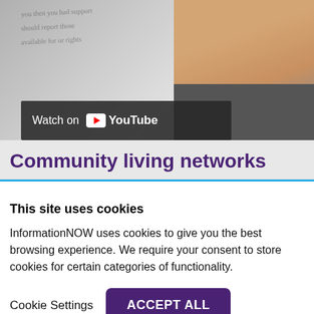[Figure (screenshot): YouTube video thumbnail showing a person in a dark jacket with handwritten notes on a whiteboard/paper visible on the left side. A red play button overlay is visible at top. A 'Watch on YouTube' bar appears at the bottom of the video.]
Community living networks
This site uses cookies
InformationNOW uses cookies to give you the best browsing experience. We require your consent to store cookies for certain categories of functionality.
Cookie Settings
ACCEPT ALL